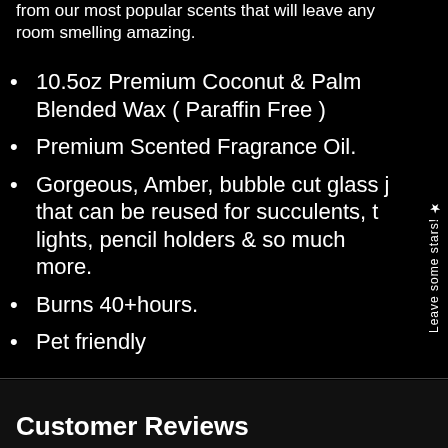from our most popular scents that will leave any room smelling amazing.
10.5oz Premium Coconut & Palm Blended Wax ( Paraffin Free )
Premium Scented Fragrance Oil.
Gorgeous, Amber, bubble cut glass jar that can be reused for succulents, tea lights, pencil holders & so much more.
Burns 40+hours.
Pet friendly
★ Leave some stars!
Customer Reviews